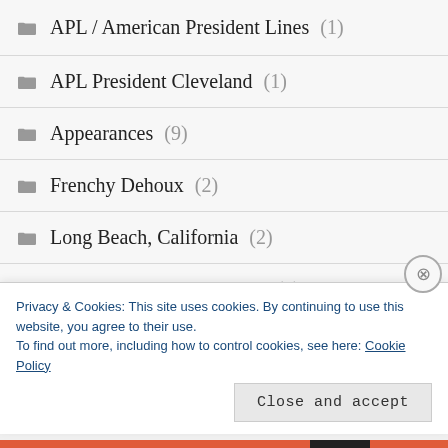APL / American President Lines (1)
APL President Cleveland (1)
Appearances (9)
Frenchy Dehoux (2)
Long Beach, California (2)
Maritime Library Archives (1)
Press/News (8)
Privacy & Cookies: This site uses cookies. By continuing to use this website, you agree to their use.
To find out more, including how to control cookies, see here: Cookie Policy
Close and accept